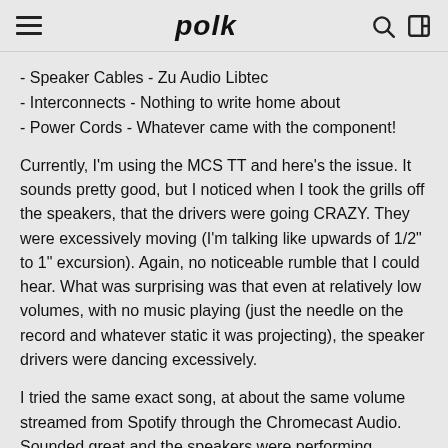polk
- Speaker Cables - Zu Audio Libtec
- Interconnects - Nothing to write home about
- Power Cords - Whatever came with the component!
Currently, I'm using the MCS TT and here's the issue. It sounds pretty good, but I noticed when I took the grills off the speakers, that the drivers were going CRAZY. They were excessively moving (I'm talking like upwards of 1/2" to 1" excursion). Again, no noticeable rumble that I could hear. What was surprising was that even at relatively low volumes, with no music playing (just the needle on the record and whatever static it was projecting), the speaker drivers were dancing excessively.
I tried the same exact song, at about the same volume streamed from Spotify through the Chromecast Audio. Sounded great and the speakers were performing